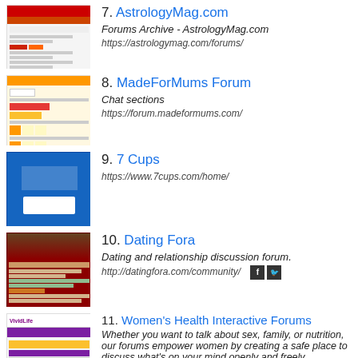7. AstrologyMag.com
Forums Archive - AstrologyMag.com
https://astrologymag.com/forums/
8. MadeForMums Forum
Chat sections
https://forum.madeformums.com/
9. 7 Cups
https://www.7cups.com/home/
10. Dating Fora
Dating and relationship discussion forum.
http://datingfora.com/community/
11. Women's Health Interactive Forums
Whether you want to talk about sex, family, or nutrition, our forums empower women by creating a safe place to discuss what's on your mind openly and freely.
http://www.womens-health.com/boards/forum.php